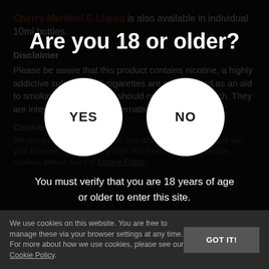Cherry Menthol E-Liquid is also available in individual 10ml bottles.
Disclaimer
Please be aware that this product contains nicotine, a highly addictive substance. E-cigarettes are not intended as an aid to smoking cessation and should not be used as such. They are intended only as an alternative
Are you 18 or older?
YES
NO
You must verify that you are 18 years of age or older to enter this site.
Cookies and You
We use cookies on this website. You are free to manage these via your browser settings at any time. For more about how we use cookies, please see our Cookie Policy.
GOT IT!